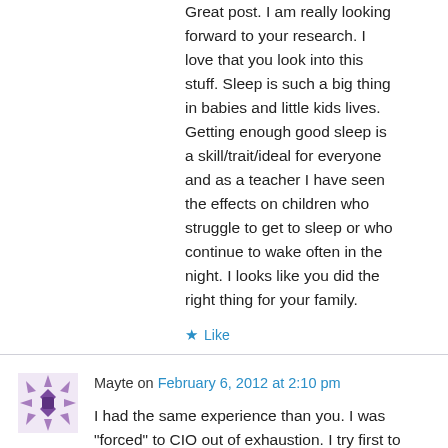Great post. I am really looking forward to your research. I love that you look into this stuff. Sleep is such a big thing in babies and little kids lives. Getting enough good sleep is a skill/trait/ideal for everyone and as a teacher I have seen the effects on children who struggle to get to sleep or who continue to wake often in the night. I looks like you did the right thing for your family.
★ Like
Mayte on February 6, 2012 at 2:10 pm
I had the same experience than you. I was "forced" to CIO out of exhaustion. I try first to stay in the room so he would not feel alone but he got so furious!!!. Then I left the room to cry